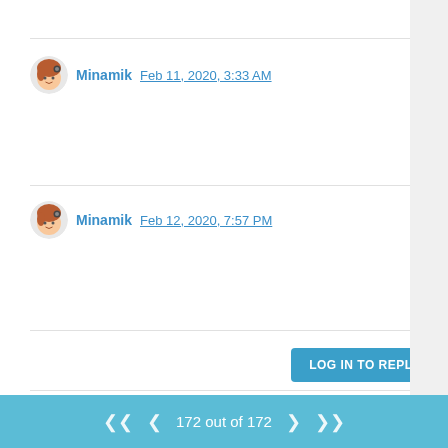^ 1
Minamik Feb 11, 2020, 3:33 AM
^ 0
Minamik Feb 12, 2020, 7:57 PM
^ 0
LOG IN TO REPLY
172 out of 172